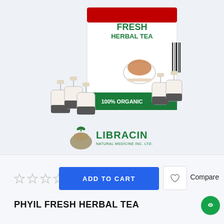[Figure (photo): Product photo of PHYIL FRESH HERBAL TEA box (100% Organic, 20x30 bags) by Libracin Natural Medicine Inc. Ltd., with tea bags arranged in front of the box. Box shows a cup of tea and plant imagery. Below the product is the Libracin Natural Medicine Inc. Ltd. logo.]
ADD TO CART
PHYIL FRESH HERBAL TEA
Compare